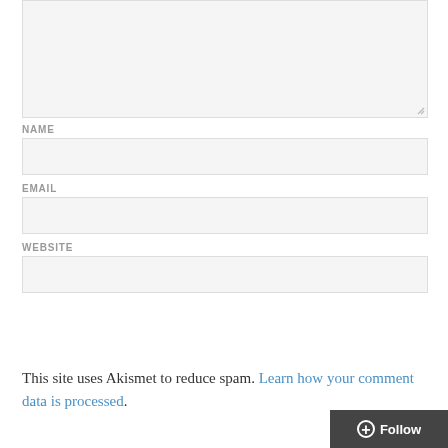[Figure (screenshot): Empty textarea input box with resize handle at bottom-right corner, light gray background]
NAME
[Figure (screenshot): Empty text input field for NAME, light gray background with border]
EMAIL
[Figure (screenshot): Empty text input field for EMAIL, light gray background with border]
WEBSITE
[Figure (screenshot): Empty text input field for WEBSITE, light gray background with border]
Post Comment
This site uses Akismet to reduce spam. Learn how your comment data is processed.